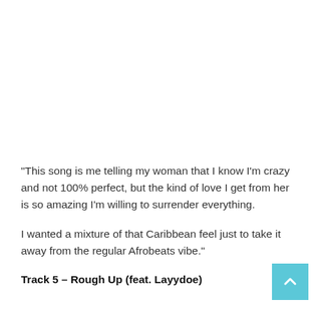“This song is me telling my woman that I know I’m crazy and not 100% perfect, but the kind of love I get from her is so amazing I’m willing to surrender everything.

I wanted a mixture of that Caribbean feel just to take it away from the regular Afrobeats vibe.”
Track 5 – Rough Up (feat. Layydoe)